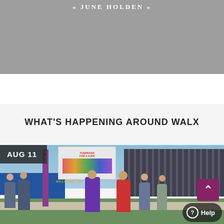« JUNE HOLDEN »
WHAT'S HAPPENING AROUND WALX
[Figure (photo): Outdoor event scene with people walking around a WALX event venue. Banners including 'FUNDRAISE FOR A CURE' and a 'WELCOME TO...' sign are visible. Buildings in background, green grass in foreground. Date badge shows AUG 11. Scroll-to-top button and Help button visible in lower right.]